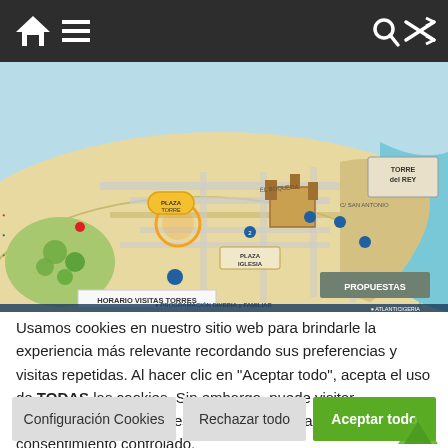[Figure (screenshot): Website navigation bar with home icon, hamburger menu, search icon, and shuffle icon on dark background]
[Figure (map): Illustrated tourist map of a Spanish coastal town showing streets, landmarks including Torre del Rey, Plaza Iglesia, historical routes, and Programacion Diveria Familiar label]
Usamos cookies en nuestro sitio web para brindarle la experiencia más relevante recordando sus preferencias y visitas repetidas. Al hacer clic en "Aceptar todo", acepta el uso de TODAS las cookies. Sin embargo, puede visitar "Configuración de cookies" para proporcionar un consentimiento controlado.